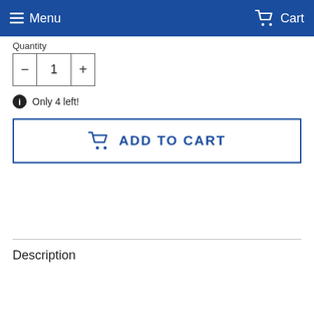Menu   Cart
Quantity
- 1 +
Only 4 left!
ADD TO CART
Description